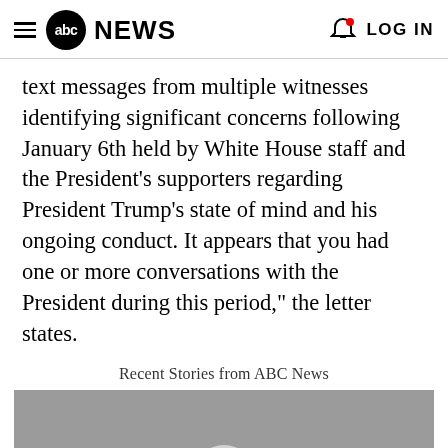abc NEWS | LOG IN
text messages from multiple witnesses identifying significant concerns following January 6th held by White House staff and the President's supporters regarding President Trump's state of mind and his ongoing conduct. It appears that you had one or more conversations with the President during this period," the letter states.
Recent Stories from ABC News
[Figure (screenshot): Gray video thumbnail with a play button icon at the bottom center]